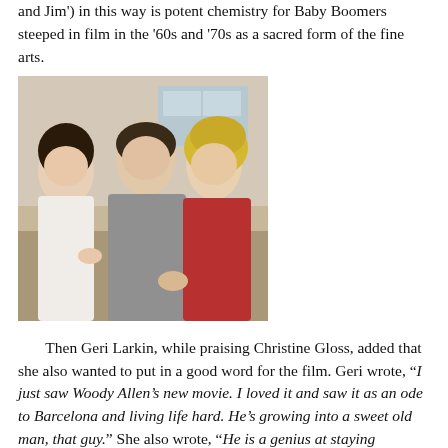and Jim') in this way is potent chemistry for Baby Boomers steeped in film in the '60s and '70s as a sacred form of the fine arts.
[Figure (photo): A scene from a Woody Allen film featuring three people in a kitchen setting — a dark-haired woman on the left, a man in a grey t-shirt in the center, and a blonde woman in a red top on the right, appearing to interact closely.]
Then Geri Larkin, while praising Christine Gloss, added that she also wanted to put in a good word for the film. Geri wrote, "I just saw Woody Allen's new movie. I loved it and saw it as an ode to Barcelona and living life hard. He's growing into a sweet old man, that guy." She also wrote, "He is a genius at staying controversial." Over the years, I have come to trust Geri's spiritual